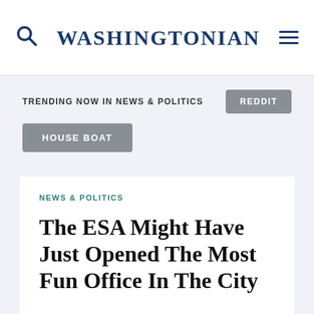WASHINGTONIAN
TRENDING NOW IN NEWS & POLITICS
REDDIT
HOUSE BOAT
NEWS & POLITICS
The ESA Might Have Just Opened The Most Fun Office In The City